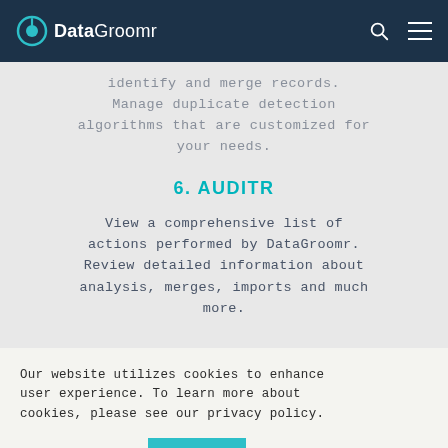DataGroomr
identify and merge records. Manage duplicate detection algorithms that are customized for your needs.
6. AUDITR
View a comprehensive list of actions performed by DataGroomr. Review detailed information about analysis, merges, imports and much more.
Our website utilizes cookies to enhance user experience. To learn more about cookies, please see our privacy policy.
Cookie settings
Accept